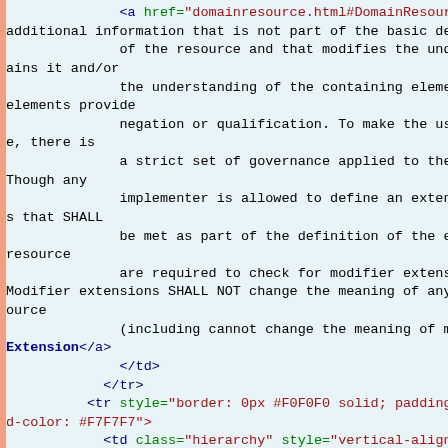Code snippet showing HTML/XML source with modifier extensions documentation and table row markup